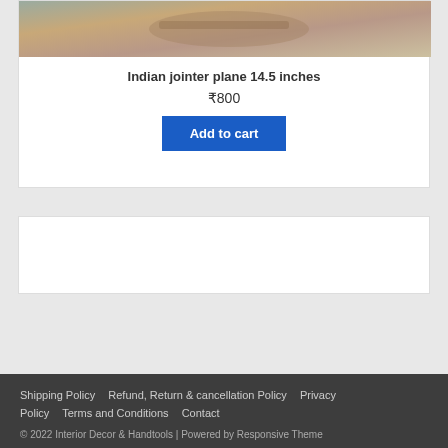[Figure (photo): Product photo of Indian jointer plane, showing wooden and metal tool parts with earthy tones]
Indian jointer plane 14.5 inches
₹800
Add to cart
Shipping Policy  Refund, Return & cancellation Policy  Privacy Policy  Terms and Conditions  Contact
© 2022 Interior Decor & Handtools | Powered by Responsive Theme